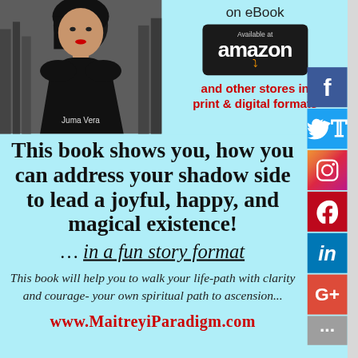[Figure (illustration): Book promotional graphic with author photo (Juma Vera), Amazon eBook badge, social media icons (Facebook, Twitter, Instagram, Pinterest, LinkedIn, Google+), and descriptive text about the book on a light blue background]
on eBook
[Figure (logo): Amazon 'Available at amazon' badge with dark background and orange smile logo]
and other stores in print & digital formats
This book shows you, how you can address your shadow side to lead a joyful, happy, and magical existence!
… in a fun story format
This book will help you to walk your life-path with clarity and courage- your own spiritual path to ascension...
www.MaitreyiParadigm.com
[Figure (photo): Partial black and white photo at bottom of page]